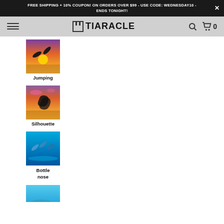FREE SHIPPING + 10% COUPON! ON ORDERS OVER $99 - USE CODE: WEDNESDAY10 - ENDS TONIGHT!
[Figure (screenshot): Tiaracle website navigation bar with hamburger menu, logo, search and cart icons]
[Figure (photo): Jumping dolphins at sunset product thumbnail]
Jumping
[Figure (photo): Silhouette of dolphin at sunset product thumbnail]
Silhouette
[Figure (photo): Bottlenose dolphins jumping in blue water product thumbnail]
Bottle nose
[Figure (photo): Another dolphin product thumbnail partially visible at bottom]